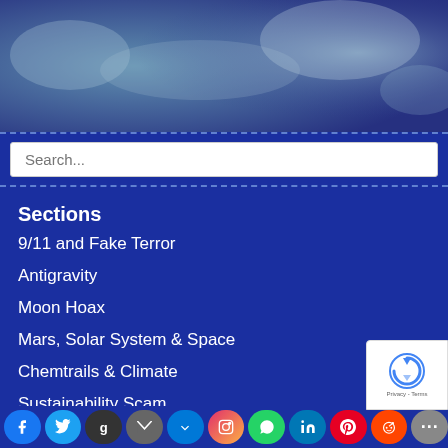[Figure (illustration): Banner image with dramatic background (clouds/rubble imagery) and bold red text reading WHERE DID THE TOWERS GO?]
Search...
Sections
9/11 and Fake Terror
Antigravity
Moon Hoax
Mars, Solar System & Space
Chemtrails & Climate
Sustainability Scam
Energy
Consciousness
Crop Circles
Disclosure/ET